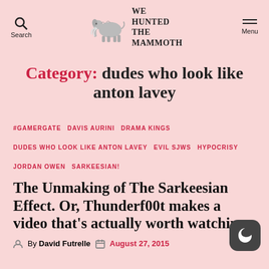WE HUNTED THE MAMMOTH
Category: dudes who look like anton lavey
#GAMERGATE  DAVIS AURINI  DRAMA KINGS  DUDES WHO LOOK LIKE ANTON LAVEY  EVIL SJWS  HYPOCRISY  JORDAN OWEN  SARKEESIAN!
The Unmaking of The Sarkeesian Effect. Or, Thunderf00t makes a video that's actually worth watching
By David Futrelle   August 27, 2015